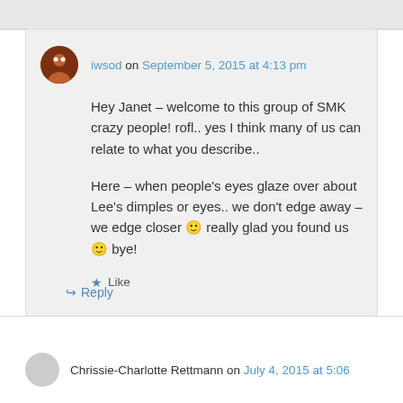iwsod on September 5, 2015 at 4:13 pm
Hey Janet – welcome to this group of SMK crazy people! rofl.. yes I think many of us can relate to what you describe..
Here – when people's eyes glaze over about Lee's dimples or eyes.. we don't edge away – we edge closer 🙂 really glad you found us 🙂 bye!
Like
Reply
Chrissie-Charlotte Rettmann on July 4, 2015 at 5:06